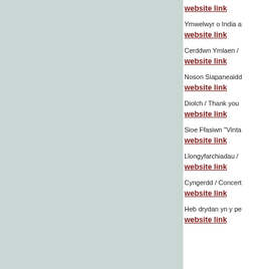website link
Ymwelwyr o India a
website link
Cerddwn Ymlaen /
website link
Noson Siapaneaidd
website link
Diolch / Thank you
website link
Sioe Ffasiwn "Vinta
website link
Llongyfarchiadau /
website link
Cyngerdd / Concert
website link
Heb drydan yn y pe
website link